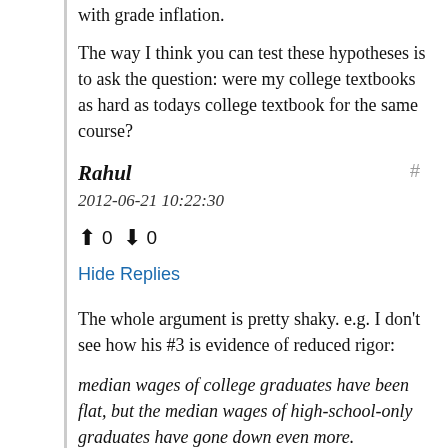with grade inflation.
The way I think you can test these hypotheses is to ask the question: were my college textbooks as hard as todays college textbook for the same course?
Rahul
2012-06-21 10:22:30
▲ 0 ▼ 0
Hide Replies
The whole argument is pretty shaky. e.g. I don't see how his #3 is evidence of reduced rigor:
median wages of college graduates have been flat, but the median wages of high-school-only graduates have gone down even more.
For arguments sake consider the converse, where both college and schools became more rigorous. I don't see why this cannot lead to the same decline in school-only salaries. The demand